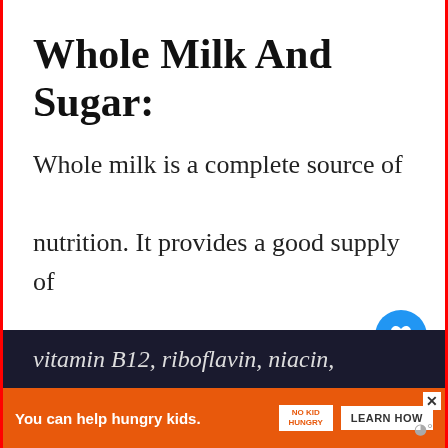Whole Milk And Sugar:
Whole milk is a complete source of nutrition. It provides a good supply of nutrients such as vitamin A, vita... vitamin B12, riboflavin, niacin,
[Figure (screenshot): UI overlay with heart/like button (blue circle) and share button (white circle with shadow)]
[Figure (screenshot): What's Next panel showing food image thumbnail with text 'WHAT'S NEXT → What does it mean when...']
[Figure (screenshot): Advertisement banner: orange background with text 'You can help hungry kids.' No Kid Hungry logo and LEARN HOW button, with close X and weather icon]